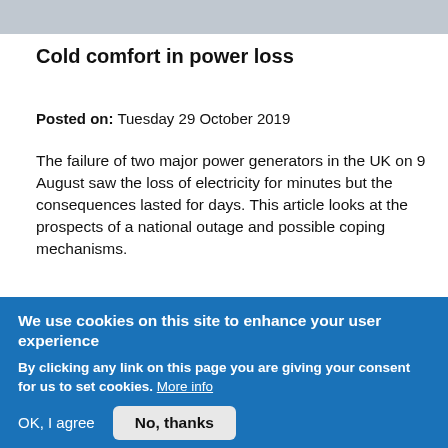[Figure (photo): Partial photo of a person, cropped at top of page]
Cold comfort in power loss
Posted on:  Tuesday 29 October 2019
The failure of two major power generators in the UK on 9 August saw the loss of electricity for minutes but the consequences lasted for days. This article looks at the prospects of a national outage and possible coping mechanisms.
Read more
[Figure (photo): Partial photo with orange/fire tones, cropped at bottom]
We use cookies on this site to enhance your user experience
By clicking any link on this page you are giving your consent for us to set cookies. More info
OK, I agree
No, thanks